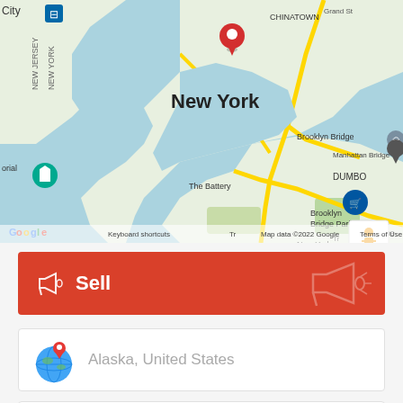[Figure (map): Google Maps screenshot showing New York City area with red location pin over lower Manhattan, Brooklyn Bridge, DUMBO, and surrounding areas. Includes zoom controls and street view icon.]
Sell
Alaska, United States